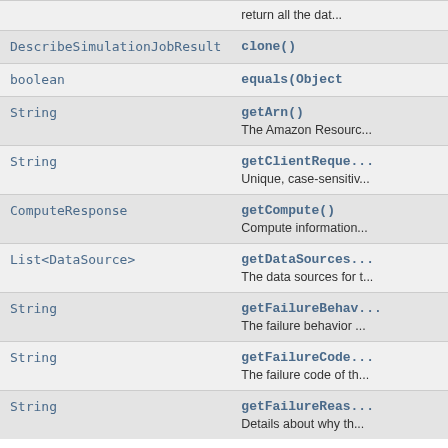| Type | Method and Description |
| --- | --- |
| DescribeSimulationJobResult | clone()
(truncated top) |
| boolean | equals(Object (truncated) |
| String | getArn()
The Amazon Resourc... |
| String | getClientReque...
Unique, case-sensitiv... |
| ComputeResponse | getCompute()
Compute information... |
| List<DataSource> | getDataSources...
The data sources for t... |
| String | getFailureBehav...
The failure behavior ... |
| String | getFailureCode...
The failure code of th... |
| String | getFailureReas...
Details about why th... |